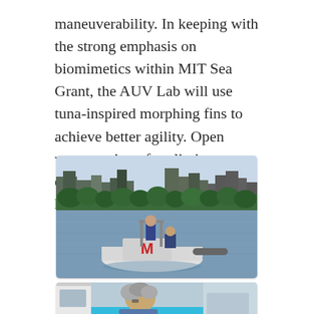maneuverability. In keeping with the strong emphasis on biomimetics within MIT Sea Grant, the AUV Lab will use tuna-inspired morphing fins to achieve better agility. Open water testing of preliminary designs on the Charles River have been encouraging.
[Figure (photo): Two researchers on a small white boat with a red 'M' logo on the Charles River. One person stands at the back, another leans over the side handling equipment. City skyline and trees visible in the background.]
[Figure (photo): Close-up of a person with gray hair leaning over what appears to be a boat hull, with a bright turquoise/teal surface visible.]